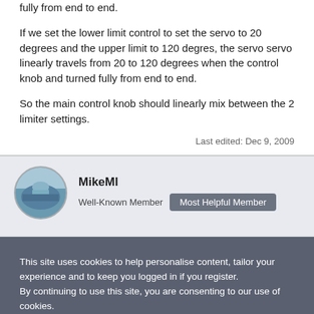fully from end to end.
If we set the lower limit control to set the servo to 20 degrees and the upper limit to 120 degres, the servo servo linearly travels from 20 to 120 degrees when the control knob and turned fully from end to end.
So the main control knob should linearly mix between the 2 limiter settings.
Last edited: Dec 9, 2009
MikeMl
Well-Known Member
Most Helpful Member
This site uses cookies to help personalise content, tailor your experience and to keep you logged in if you register.
By continuing to use this site, you are consenting to our use of cookies.
✓ Accept
Learn more...